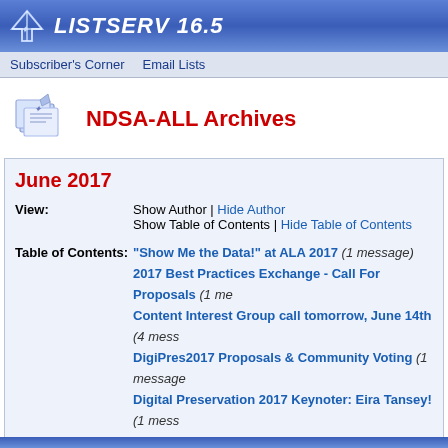LISTSERV 16.5
Subscriber's Corner | Email Lists
NDSA-ALL Archives
June 2017
View: Show Author | Hide Author
Show Table of Contents | Hide Table of Contents
Table of Contents: "Show Me the Data!" at ALA 2017 (1 message)
2017 Best Practices Exchange - Call For Proposals (1 me...
Content Interest Group call tomorrow, June 14th (4 mess...
DigiPres2017 Proposals & Community Voting (1 message)
Digital Preservation 2017 Keynoter: Eira Tansey! (1 mess...
Fwd: NDSRDC 2017 Symposium speakers announced and registration open! (1 message)
Job Opportunity: Yale University Library seeks Software Preservation Program Manager (1 message)
Reminder - Community Input Needed for DigiPres2017 (... message)